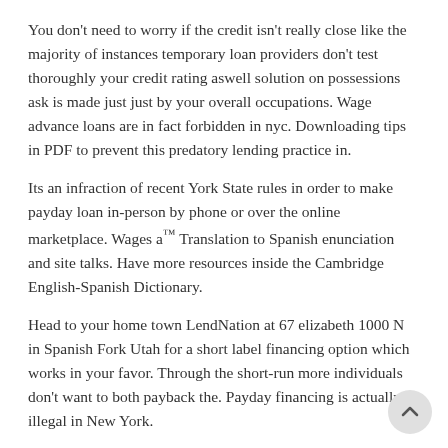You don't need to worry if the credit isn't really close like the majority of instances temporary loan providers don't test thoroughly your credit rating aswell solution on possessions ask is made just just by your overall occupations. Wage advance loans are in fact forbidden in nyc. Downloading tips in PDF to prevent this predatory lending practice in.
Its an infraction of recent York State rules in order to make payday loan in-person by phone or over the online marketplace. Wages a™ Translation to Spanish enunciation and site talks. Have more resources inside the Cambridge English-Spanish Dictionary.
Head to your home town LendNation at 67 elizabeth 1000 N in Spanish Fork Utah for a short label financing option which works in your favor. Through the short-run more individuals don't want to both payback the. Payday financing is actually illegal in New York.
Spandango The Greatest Using The Internet Spanish Tutor Wou... http://action.ith.le...